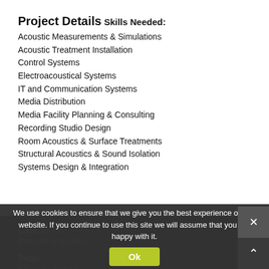Project Details
Skills Needed:
Acoustic Measurements & Simulations
Acoustic Treatment Installation
Control Systems
Electroacoustical Systems
IT and Communication Systems
Media Distribution
Media Facility Planning & Consulting
Recording Studio Design
Room Acoustics & Surface Treatments
Structural Acoustics & Sound Isolation
Systems Design & Integration
Categories:
Recording Studios
Tags:
Eduardo Acosta
We use cookies to ensure that we give you the best experience on our website. If you continue to use this site we will assume that you are happy with it.